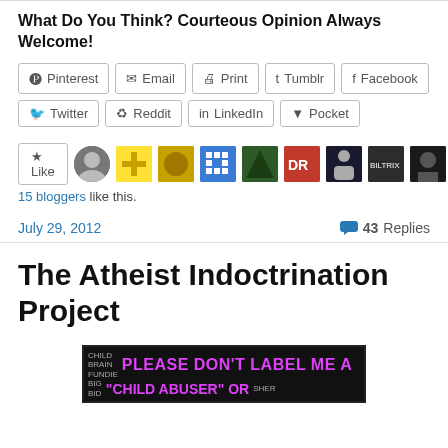What Do You Think? Courteous Opinion Always Welcome!
[Figure (infographic): Social sharing buttons: Pinterest, Email, Print, Tumblr, Facebook, Twitter, Reddit, LinkedIn, Pocket]
[Figure (infographic): Like button and 10 blogger avatars. 15 bloggers like this.]
15 bloggers like this.
July 29, 2012   43 Replies
The Atheist Indoctrination Project
[Figure (photo): Partial image with text: PLEASE DON'T LABEL ME A and partial text below including CHILD ABUSER]